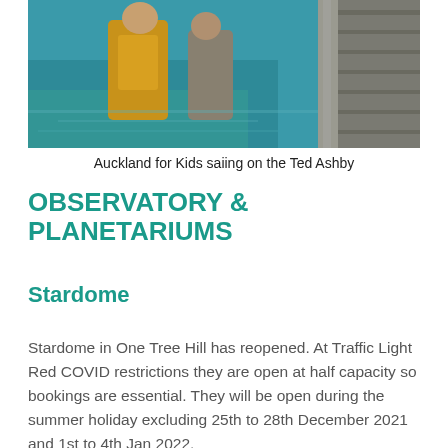[Figure (photo): Children in life vests on a sailing boat, teal water visible in the background, wooden dock/boat structure on the right side.]
Auckland for Kids saiing on the Ted Ashby
OBSERVATORY & PLANETARIUMS
Stardome
Stardome in One Tree Hill has reopened. At Traffic Light Red COVID restrictions they are open at half capacity so bookings are essential. They will be open during the summer holiday excluding 25th to 28th December 2021 and 1st to 4th Jan 2022.